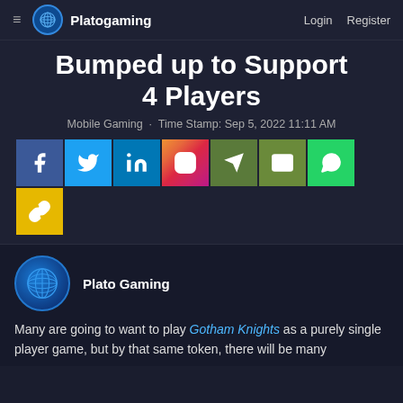Platogaming   Login   Register
Bumped up to Support 4 Players
Mobile Gaming · Time Stamp: Sep 5, 2022 11:11 AM
[Figure (other): Social sharing icons: Facebook, Twitter, LinkedIn, Instagram, Telegram, Email, WhatsApp, Link]
[Figure (logo): Plato Gaming logo — blue geometric globe icon with author name 'Plato Gaming']
Many are going to want to play Gotham Knights as a purely single player game, but by that same token, there will be many